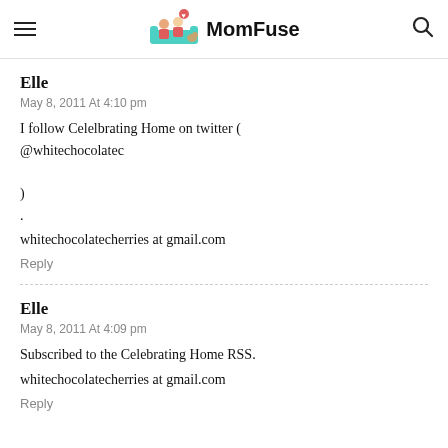MomFuse
Elle
May 8, 2011 At 4:10 pm
I follow Celelbrating Home on twitter ( @whitechocolatec
)
.
whitechocolatecherries at gmail.com
Reply
Elle
May 8, 2011 At 4:09 pm
Subscribed to the Celebrating Home RSS.
whitechocolatecherries at gmail.com
Reply